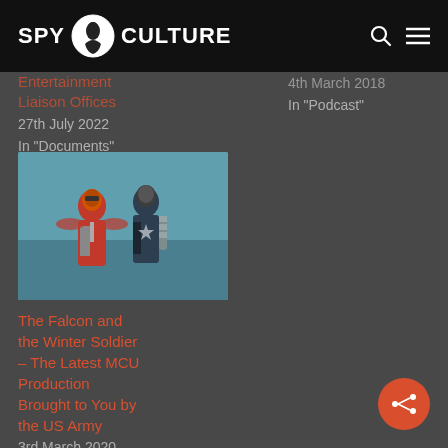SPY CULTURE
Entertainment Liaison Offices
27th July 2022
In "Documents"
4th March 2018
In "Podcast"
[Figure (photo): Two Marvel superheroes in costume — Falcon in red and grey suit, Winter Soldier in dark tactical gear, standing side by side against a teal background.]
The Falcon and the Winter Soldier – The Latest MCU Production Brought to You by the US Army
3rd March 2020
In "Blog"